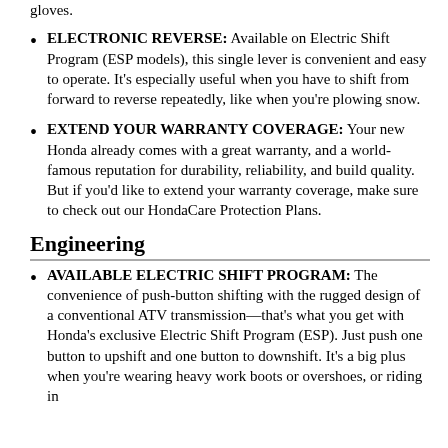ELECTRONIC REVERSE: Available on Electric Shift Program (ESP models), this single lever is convenient and easy to operate. It's especially useful when you have to shift from forward to reverse repeatedly, like when you're plowing snow.
EXTEND YOUR WARRANTY COVERAGE: Your new Honda already comes with a great warranty, and a world-famous reputation for durability, reliability, and build quality. But if you'd like to extend your warranty coverage, make sure to check out our HondaCare Protection Plans.
Engineering
AVAILABLE ELECTRIC SHIFT PROGRAM: The convenience of push-button shifting with the rugged design of a conventional ATV transmission—that's what you get with Honda's exclusive Electric Shift Program (ESP). Just push one button to upshift and one button to downshift. It's a big plus when you're wearing heavy work boots or overshoes, or riding in